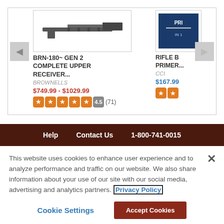[Figure (screenshot): Product listing carousel showing two products: BRN-180~ GEN 2 COMPLETE UPPER RECEIVER by BROWNELLS priced $749.99 - $1029.99 with 4.5 star rating (71 reviews), and a partially visible RIFLE B PRIMER by CCI priced $167.99 with star rating. Navigation arrows on left and right.]
BRN-180~ GEN 2 COMPLETE UPPER RECEIVER...
BROWNELLS
$749.99 - $1029.99
4.5 (71)
RIFLE B PRIMER...
CCI
$167.99
Help   Contact Us   1-800-741-0015
This website uses cookies to enhance user experience and to analyze performance and traffic on our website. We also share information about your use of our site with our social media, advertising and analytics partners. Privacy Policy
Cookie Settings
Accept Cookies